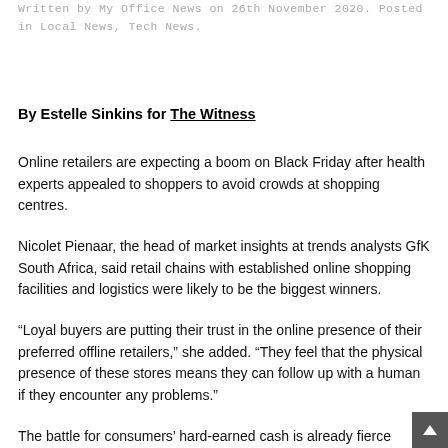Written by My Office News on 26th November 2020. Posted in Local News, Tech News.
By Estelle Sinkins for The Witness
Online retailers are expecting a boom on Black Friday after health experts appealed to shoppers to avoid crowds at shopping centres.
Nicolet Pienaar, the head of market insights at trends analysts GfK South Africa, said retail chains with established online shopping facilities and logistics were likely to be the biggest winners.
“Loyal buyers are putting their trust in the online presence of their preferred offline retailers,” she added. “They feel that the physical presence of these stores means they can follow up with a human if they encounter any problems.”
The battle for consumers’ hard-earned cash is already fierce with many of the large retail chains — including Game, Makro, Clicks, Dischem, Checkers, Pick n Pay and Spar — offering big discounts.